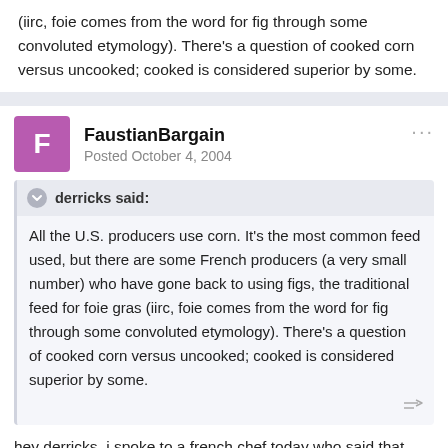(iirc, foie comes from the word for fig through some convoluted etymology). There's a question of cooked corn versus uncooked; cooked is considered superior by some.
FaustianBargain
Posted October 4, 2004
derricks said:
All the U.S. producers use corn. It's the most common feed used, but there are some French producers (a very small number) who have gone back to using figs, the traditional feed for foie gras (iirc, foie comes from the word for fig through some convoluted etymology). There's a question of cooked corn versus uncooked; cooked is considered superior by some.
hey derricks, i spoke to a french chef today who said that french